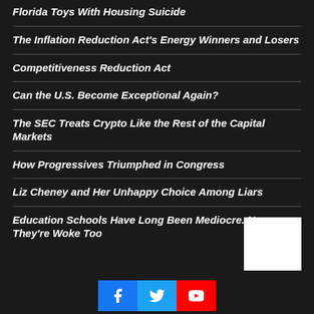Florida Toys With Housing Suicide
The Inflation Reduction Act's Energy Winners and Losers
Competitiveness Reduction Act
Can the U.S. Become Exceptional Again?
The SEC Treats Crypto Like the Rest of the Capital Markets
How Progressives Triumphed in Congress
Liz Cheney and Her Unhappy Choice Among Liars
Education Schools Have Long Been Mediocre. Now They're Woke Too